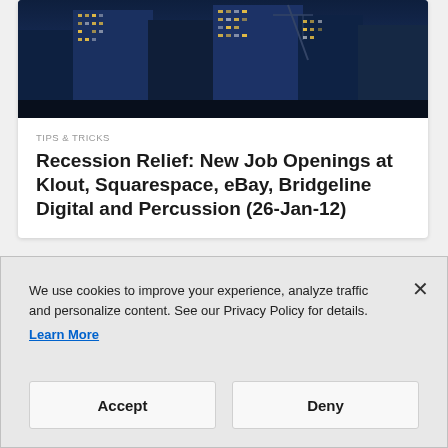[Figure (photo): Nighttime aerial photo of city skyscrapers with illuminated windows, blue-toned]
TIPS & TRICKS
Recession Relief: New Job Openings at Klout, Squarespace, eBay, Bridgeline Digital and Percussion (26-Jan-12)
We use cookies to improve your experience, analyze traffic and personalize content. See our Privacy Policy for details.
Learn More
Accept
Deny